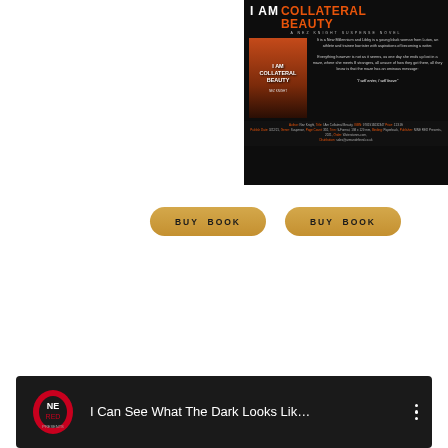[Figure (illustration): Book promotional banner for 'I Am Collateral Beauty' by Nez Knight. Shows book cover image alongside title text in white and orange, description text, and metadata about the book (ISBN, genre: Suspense, publisher: NINE RED Presents, publish date 3/22/21).]
BUY BOOK
BUY BOOK
[Figure (screenshot): Video thumbnail strip with dark background showing a red and white logo on the left and text 'I Can See What The Dark Looks Lik...' with a three-dot menu icon on the right.]